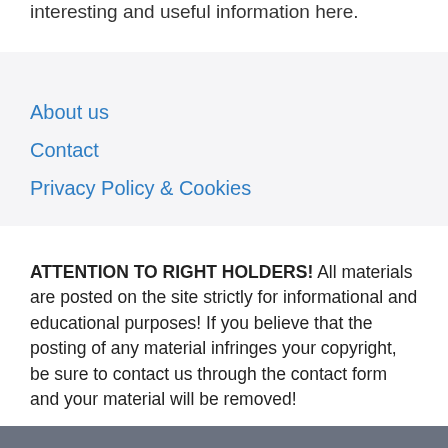interesting and useful information here.
About us
Contact
Privacy Policy & Cookies
ATTENTION TO RIGHT HOLDERS! All materials are posted on the site strictly for informational and educational purposes! If you believe that the posting of any material infringes your copyright, be sure to contact us through the contact form and your material will be removed!